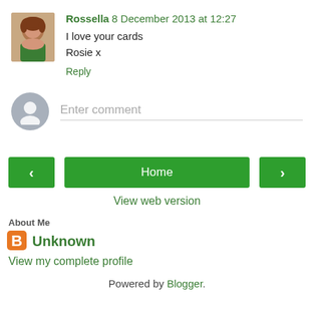[Figure (photo): Small profile photo of Rossella, a woman with reddish-brown hair wearing a green top]
Rossella 8 December 2013 at 12:27
I love your cards
Rosie x
Reply
[Figure (illustration): Generic grey silhouette avatar icon for comment input]
Enter comment
< Home >
View web version
About Me
[Figure (logo): Blogger orange B logo icon]
Unknown
View my complete profile
Powered by Blogger.